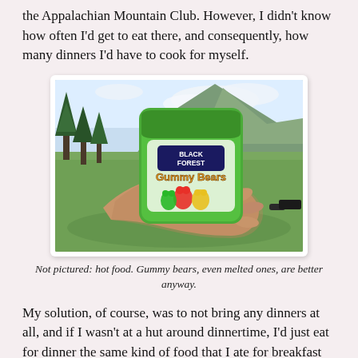the Appalachian Mountain Club. However, I didn't know how often I'd get to eat there, and consequently, how many dinners I'd have to cook for myself.
[Figure (photo): A hand holding a bag of Black Forest Gummy Bears against an outdoor mountain meadow background with evergreen trees and hills.]
Not pictured: hot food. Gummy bears, even melted ones, are better anyway.
My solution, of course, was to not bring any dinners at all, and if I wasn't at a hut around dinnertime, I'd just eat for dinner the same kind of food that I ate for breakfast and lunch. This decision turned out to be more consequential